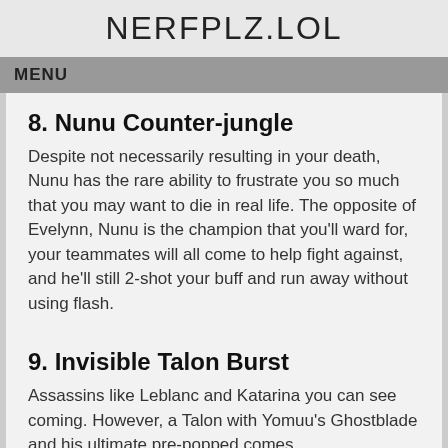NERFPLZ.LOL
MENU
8. Nunu Counter-jungle
Despite not necessarily resulting in your death, Nunu has the rare ability to frustrate you so much that you may want to die in real life. The opposite of Evelynn, Nunu is the champion that you'll ward for, your teammates will all come to help fight against, and he'll still 2-shot your buff and run away without using flash.
9. Invisible Talon Burst
Assassins like Leblanc and Katarina you can see coming. However, a Talon with Yomuu's Ghostblade and his ultimate pre-popped comes